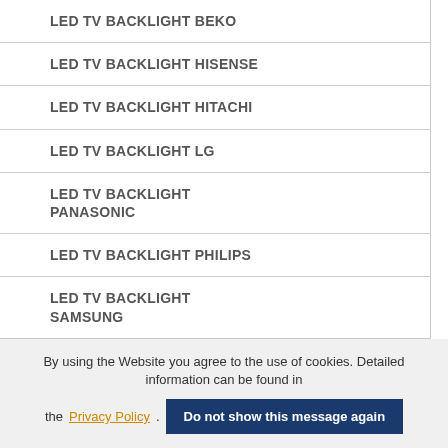LED TV BACKLIGHT BEKO
LED TV BACKLIGHT HISENSE
LED TV BACKLIGHT HITACHI
LED TV BACKLIGHT LG
LED TV BACKLIGHT PANASONIC
LED TV BACKLIGHT PHILIPS
LED TV BACKLIGHT SAMSUNG
LED TV BACKLIGHT SHARP
LED TV BACKLIGHT SONY
LED TV BACKLIGHT TCL , TOMSON , KONKA , VIEWSONIC
LED TV BACKLIGHT VESTEL , THOMSON , TOSHIBA , GRUNDIG , FUNAI , JVC , MANTA , SANYO , HAIER , SKYWORTH , SKYMASTER , SENCOR , STRONG SRT
By using the Website you agree to the use of cookies. Detailed information can be found in the Privacy Policy. Do not show this message again